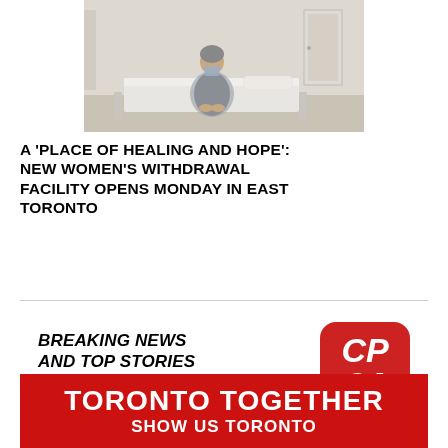[Figure (photo): A woman wearing a face mask sits on a hospital bed in a room with white walls and a door in the background.]
A 'PLACE OF HEALING AND HOPE': NEW WOMEN'S WITHDRAWAL FACILITY OPENS MONDAY IN EAST TORONTO
[Figure (advertisement): CP24 app advertisement: 'Breaking News and Top Stories on the all-new CP24 App' with the CP24 logo (red rounded square with white italic CP24 text).]
[Figure (advertisement): Toronto Together banner advertisement in red with white bold text reading 'TORONTO TOGETHER' and 'SHOW US TORONTO' below.]